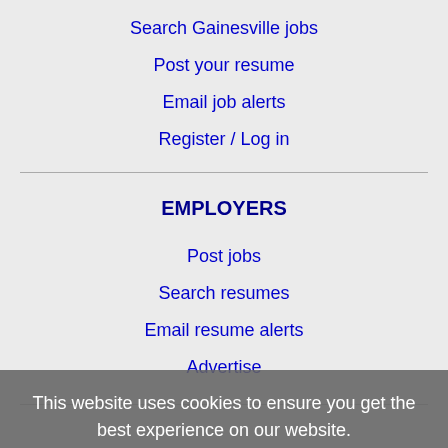Search Gainesville jobs
Post your resume
Email job alerts
Register / Log in
EMPLOYERS
Post jobs
Search resumes
Email resume alerts
Advertise
This website uses cookies to ensure you get the best experience on our website.
Learn more
IMMIGRATION SPECIALISTS
Got it!
Post jobs
Immigration FAQs
Learn more